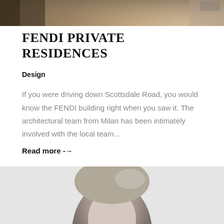[Figure (photo): Top portion of an architectural/interior image, cropped, showing warm tones and natural materials]
FENDI PRIVATE RESIDENCES
Design
If you were driving down Scottsdale Road, you would know the FENDI building right when you saw it. The architectural team from Milan has been intimately involved with the local team…
Read more →
[Figure (photo): Black and white portrait photo of a woman, cropped showing head and upper shoulders against a light gray background]